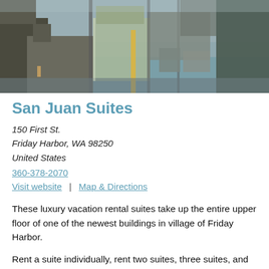[Figure (photo): Photo of a harbor dock area with ferry or industrial port infrastructure, cranes, buildings, and water visible in the background. Black and white/muted tones.]
San Juan Suites
150 First St.
Friday Harbor, WA 98250
United States
360-378-2070
Visit website  |  Map & Directions
These luxury vacation rental suites take up the entire upper floor of one of the newest buildings in village of Friday Harbor.
Rent a suite individually, rent two suites, three suites, and four or for a large family reunion – rent the entire floor to accommodate up to 17 guests.